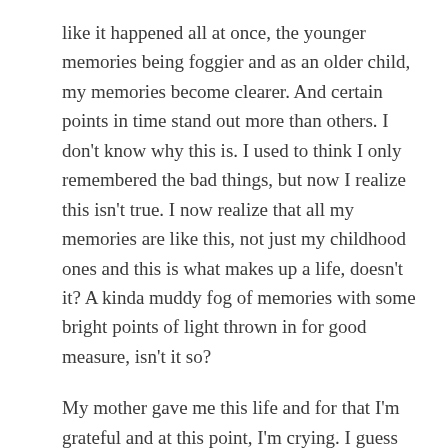like it happened all at once, the younger memories being foggier and as an older child, my memories become clearer. And certain points in time stand out more than others. I don't know why this is. I used to think I only remembered the bad things, but now I realize this isn't true. I now realize that all my memories are like this, not just my childhood ones and this is what makes up a life, doesn't it? A kinda muddy fog of memories with some bright points of light thrown in for good measure, isn't it so?
My mother gave me this life and for that I'm grateful and at this point, I'm crying. I guess because it has taken me a long time to say that.
This is how I think.